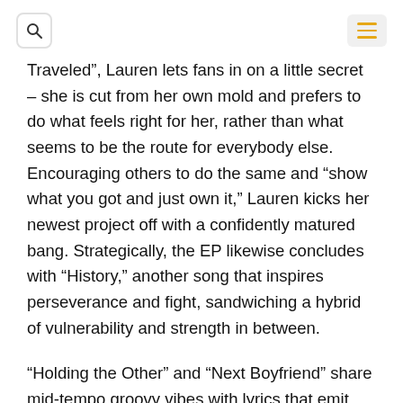[search icon] [hamburger menu icon]
Traveled”, Lauren lets fans in on a little secret – she is cut from her own mold and prefers to do what feels right for her, rather than what seems to be the route for everybody else. Encouraging others to do the same and “show what you got and just own it,” Lauren kicks her newest project off with a confidently matured bang. Strategically, the EP likewise concludes with “History,” another song that inspires perseverance and fight, sandwiching a hybrid of vulnerability and strength in between.
“Holding the Other” and “Next Boyfriend” share mid-tempo groovy vibes with lyrics that emit independence, laced with a ribbon of softness that allows Lauren to show that she is very much her own